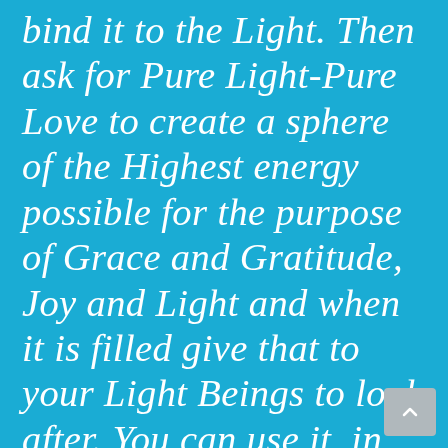bind it to the Light. Then ask for Pure Light-Pure Love to create a sphere of the Highest energy possible for the purpose of Grace and Gratitude, Joy and Light and when it is filled give that to your Light Beings to look after. You can use it  in all your preparations by 'bringing it down around you and then on the day of celebrations bring it down around where ever your